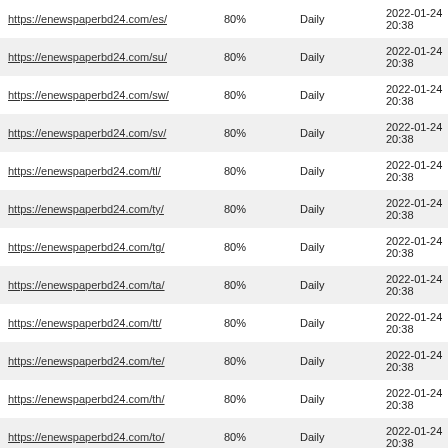| https://enewspaperbd24.com/es/ | 80% | Daily | 2022-01-24 20:38 |
| https://enewspaperbd24.com/su/ | 80% | Daily | 2022-01-24 20:38 |
| https://enewspaperbd24.com/sw/ | 80% | Daily | 2022-01-24 20:38 |
| https://enewspaperbd24.com/sv/ | 80% | Daily | 2022-01-24 20:38 |
| https://enewspaperbd24.com/tl/ | 80% | Daily | 2022-01-24 20:38 |
| https://enewspaperbd24.com/ty/ | 80% | Daily | 2022-01-24 20:38 |
| https://enewspaperbd24.com/tg/ | 80% | Daily | 2022-01-24 20:38 |
| https://enewspaperbd24.com/ta/ | 80% | Daily | 2022-01-24 20:38 |
| https://enewspaperbd24.com/tt/ | 80% | Daily | 2022-01-24 20:38 |
| https://enewspaperbd24.com/te/ | 80% | Daily | 2022-01-24 20:38 |
| https://enewspaperbd24.com/th/ | 80% | Daily | 2022-01-24 20:38 |
| https://enewspaperbd24.com/to/ | 80% | Daily | 2022-01-24 20:38 |
| https://enewspaperbd24.com/tr/ | 80% | Daily | 2022-01-24 |